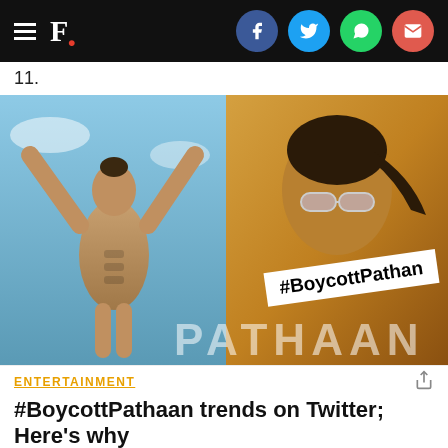F. [navigation bar with social icons]
11.
[Figure (photo): Two-panel image: left side shows Shah Rukh Khan shirtless with arms raised doing a workout; right side shows a movie poster of Pathaan with close-up of actor in sunglasses. A white tag overlaid reads #BoycottPathan. Bottom shows PATHAAN text.]
ENTERTAINMENT
#BoycottPathaan trends on Twitter; Here's why
While Shah Rukh Khan's comeback film Pathaan is all set to hit the screens on 25th January 2023, many film enthusiasts don't seem very excited about it. Read more.